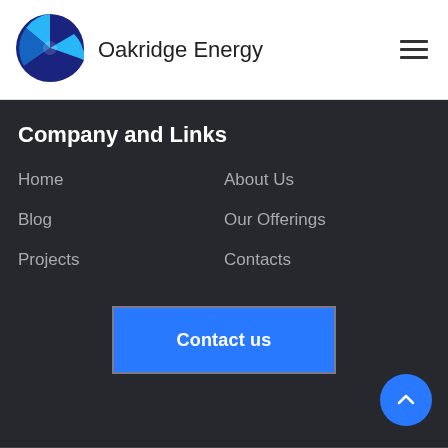[Figure (logo): Oakridge Energy circular logo with blue and teal segments resembling a power symbol]
Oakridge Energy
Company and Links
Home
About Us
Blog
Our Offerings
Projects
Contacts
Contact us